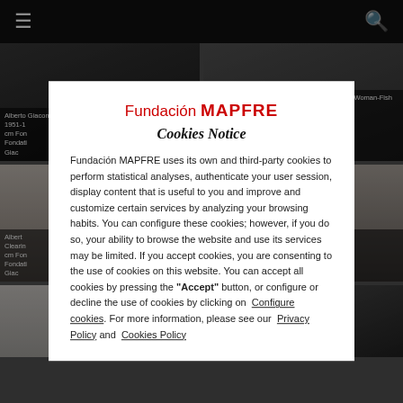≡  🔍
[Figure (screenshot): Image grid showing Alberto Giacometti artworks on dark background. Top left: 'Alberto Giacometti Petit buste sur colo[nne] 1951-1[9xx] cm Fon[dation] Fondati[on] Giac[ometti]'. Top right: 'Poisson et Torse d'Iris sur gaine à rinceaux [Set: Woman-Fish and Torso ...], after ...h), 157 cm ... Paris. ...to: © ...Baraja)'. Bottom left: 'Albert [Giacometti] Clearin[g] cm Fon[dation] Fondati[on] Giac[ometti]'. Bottom right: 'Diego [Giacometti] ...r: 9.7 x ...metti, ...metti, ...state /'. Third row partially visible.]
Fundación MAPFRE uses its own and third-party cookies to perform statistical analyses, authenticate your user session, display content that is useful to you and improve and customize certain services by analyzing your browsing habits. You can configure these cookies; however, if you do so, your ability to browse the website and use its services may be limited. If you accept cookies, you are consenting to the use of cookies on this website. You can accept all cookies by pressing the "Accept" button, or configure or decline the use of cookies by clicking on Configure cookies. For more information, please see our Privacy Policy and Cookies Policy